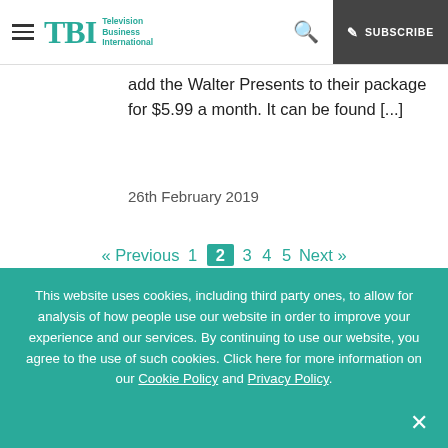TBI Television Business International — SUBSCRIBE
add the Walter Presents to their package for $5.99 a month. It can be found [...]
26th February 2019
« Previous 1 2 3 4 5 Next »
[Figure (logo): TBI Television Business logo in white on teal background banner]
This website uses cookies, including third party ones, to allow for analysis of how people use our website in order to improve your experience and our services. By continuing to use our website, you agree to the use of such cookies. Click here for more information on our Cookie Policy and Privacy Policy.